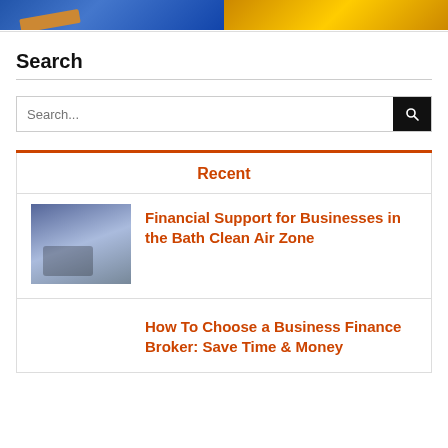[Figure (photo): Two cropped photos side by side at top: left shows person in blue clothing with orange/brown object, right shows golden circuit board or financial imagery]
Search
[Figure (other): Search input bar with black search button icon]
Recent
[Figure (photo): Thumbnail image showing bluish-grey financial or transport scene]
Financial Support for Businesses in the Bath Clean Air Zone
How To Choose a Business Finance Broker: Save Time & Money